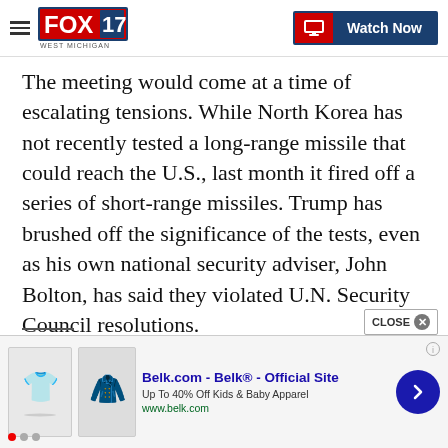FOX 17 West Michigan | Watch Now
The meeting would come at a time of escalating tensions. While North Korea has not recently tested a long-range missile that could reach the U.S., last month it fired off a series of short-range missiles. Trump has brushed off the significance of the tests, even as his own national security adviser, John Bolton, has said they violated U.N. Security Council resolutions.
[Figure (infographic): Advertisement banner for Belk.com showing children's clothing images with text 'Belk.com - Belk® - Official Site', 'Up To 40% Off Kids & Baby Apparel', 'www.belk.com' and a navigation arrow]